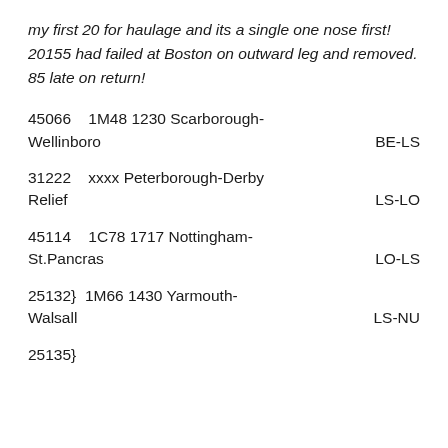my first 20 for haulage and its a single one nose first! 20155 had failed at Boston on outward leg and removed. 85 late on return!
45066    1M48 1230 Scarborough-Wellinboro                                BE-LS
31222    xxxx Peterborough-Derby Relief                                     LS-LO
45114    1C78 1717 Nottingham-St.Pancras                                    LO-LS
25132}  1M66 1430 Yarmouth-Walsall                                           LS-NU
25135}